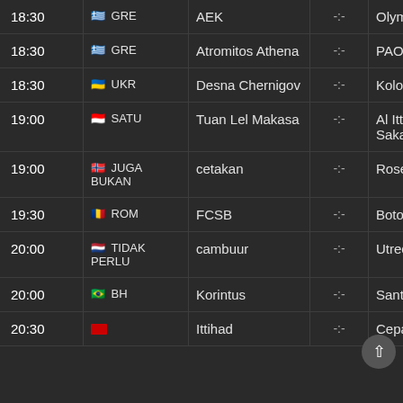| Time | League | Home | Score | Away |
| --- | --- | --- | --- | --- |
| 18:30 | 🇬🇷 GRE | AEK | -:- | Olympiako |
| 18:30 | 🇬🇷 GRE | Atromitos Athena | -:- | PAOK |
| 18:30 | 🇺🇦 UKR | Desna Chernigov | -:- | Kolos Kovalivka |
| 19:00 | 🇮🇩 SATU | Tuan Lel Makasa | -:- | Al Ittihad A Sakandari |
| 19:00 | 🇳🇴 JUGA BUKAN | cetakan | -:- | Rosenborg |
| 19:30 | 🇷🇴 ROM | FCSB | -:- | Botosani |
| 20:00 | 🇳🇱 TIDAK PERLU | cambuur | -:- | Utrecht |
| 20:00 | 🇧🇷 BH | Korintus | -:- | Santos |
| 20:30 |  | Ittihad | -:- | Cepat Oue |